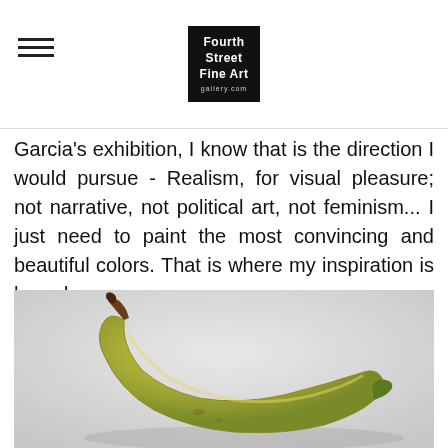Fourth Street Fine Art
Garcia's exhibition, I know that is the direction I would pursue - Realism, for visual pleasure; not narrative, not political art, not feminism... I just need to paint the most convincing and beautiful colors. That is where my inspiration is based.
[Figure (photo): A realistic painting or photograph of a single banana on a light grey background, shown in a natural curved pose with greenish-yellow coloring and a brown stem tip.]